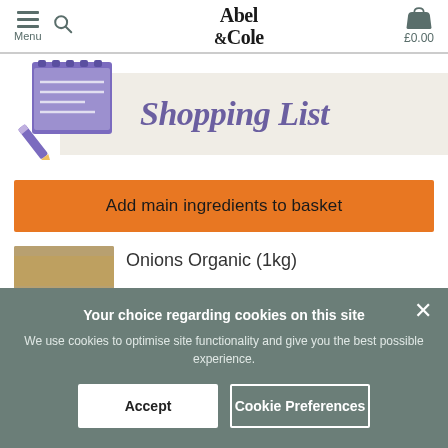Abel & Cole — Menu, Search, Basket £0.00
[Figure (illustration): Shopping List banner with notepad and pen illustration on the left and 'Shopping List' text in purple italic on a beige background]
Add main ingredients to basket
[Figure (photo): Product image of Onions Organic (1kg)]
Onions Organic (1kg)
Your choice regarding cookies on this site
We use cookies to optimise site functionality and give you the best possible experience.
Accept
Cookie Preferences